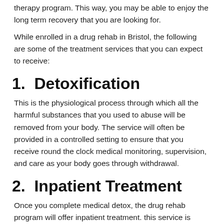therapy program. This way, you may be able to enjoy the long term recovery that you are looking for.
While enrolled in a drug rehab in Bristol, the following are some of the treatment services that you can expect to receive:
1.  Detoxification
This is the physiological process through which all the harmful substances that you used to abuse will be removed from your body. The service will often be provided in a controlled setting to ensure that you receive round the clock medical monitoring, supervision, and care as your body goes through withdrawal.
2.  Inpatient Treatment
Once you complete medical detox, the drug rehab program will offer inpatient treatment. this service is considered to be the most intensive type of care that you can receive. It